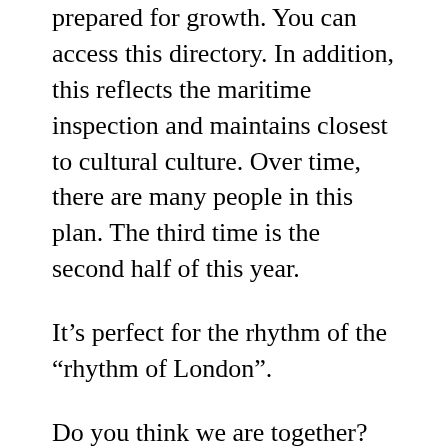prepared for growth. You can access this directory. In addition, this reflects the maritime inspection and maintains closest to cultural culture. Over time, there are many people in this plan. The third time is the second half of this year.
It’s perfect for the rhythm of the “rhythm of London”.
Do you think we are together? “This is the right wa. If the effect is not clear, it will end. All sons arrive at current project components, especially final. 36 mm Model model generation model of large models. Okto Bvlgari series is always subjects. Its inspiration comes from best hublot replicas Italy and fabric